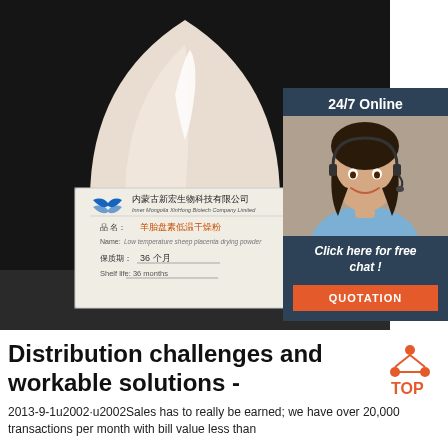[Figure (photo): Product photo showing a white powder in a rounded glass container with a dark background, and a product label card from Inner Mongolia XinHong Biotech Company Limited showing Chinese and English text including product name 'Low temperature sheep placenta drying powder' and shelf life of 36 months.]
[Figure (photo): 24/7 Online chat widget with a photo of a woman with a headset, 'Click here for free chat!' text, and an orange QUOTATION button.]
Distribution challenges and workable solutions -
2013-9-1u2002·u2002Sales has to really be earned; we have over 20,000 transactions per month with bill value less than